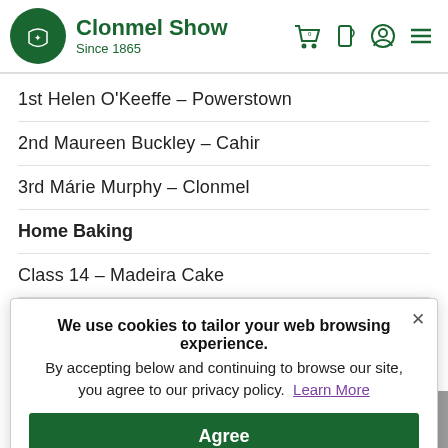Clonmel Show Since 1865
1st Helen O'Keeffe – Powerstown
2nd Maureen Buckley – Cahir
3rd Márie Murphy – Clonmel
Home Baking
Class 14 – Madeira Cake
1st Margaret Lyons – Clonmel
2nd Anne [obscured] – [obscured]
3rd Betty Williams – Clonmel
Class 15 – Brown S[obscured]
1st Betty Williams – Clonmel
We use cookies to tailor your web browsing experience. × By accepting below and continuing to browse our site, you agree to our privacy policy. Learn More [Agree]